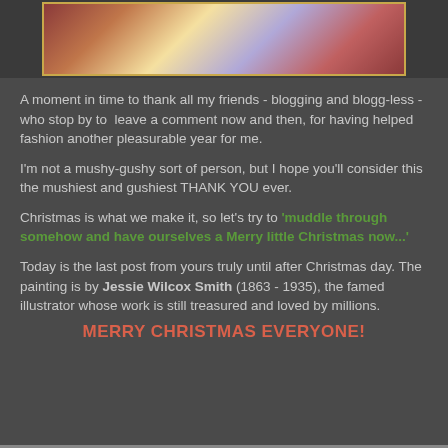[Figure (photo): Partial view of a painting by Jessie Wilcox Smith showing figures, with a decorative gold border]
A moment in time to thank all my friends - blogging and blogg-less - who stop by to  leave a comment now and then, for having helped fashion another pleasurable year for me.
I'm not a mushy-gushy sort of person, but I hope you'll consider this the mushiest and gushiest THANK YOU ever.
Christmas is what we make it, so let's try to 'muddle through somehow and have ourselves a Merry little Christmas now...'
Today is the last post from yours truly until after Christmas day. The painting is by Jessie Wilcox Smith (1863 - 1935), the famed illustrator whose work is still treasured and loved by millions.
MERRY CHRISTMAS EVERYONE!